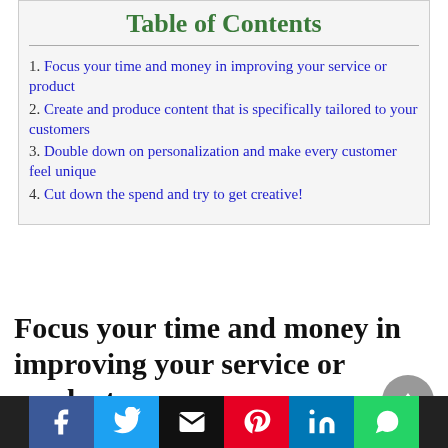Table of Contents
1. Focus your time and money in improving your service or product
2. Create and produce content that is specifically tailored to your customers
3. Double down on personalization and make every customer feel unique
4. Cut down the spend and try to get creative!
Focus your time and money in improving your service or product.